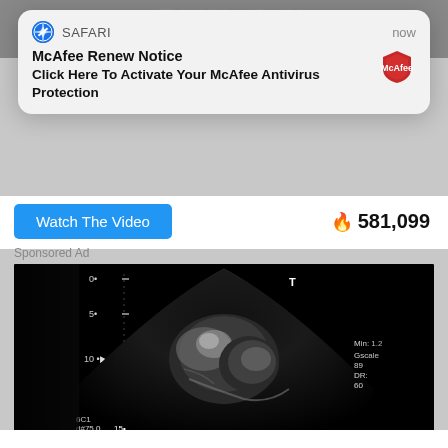[Figure (screenshot): iOS Safari push notification popup for McAfee Renew Notice with McAfee shield logo, showing 'Click Here To Activate Your McAfee Antivirus Protection']
Watch The Video
🔥 581,099
Sponsored Ad
[Figure (photo): Ultrasound / sonogram image in black and white showing a fetus with measurement markings along the side]
🔵 578 Votes
Do you agree with the Supreme